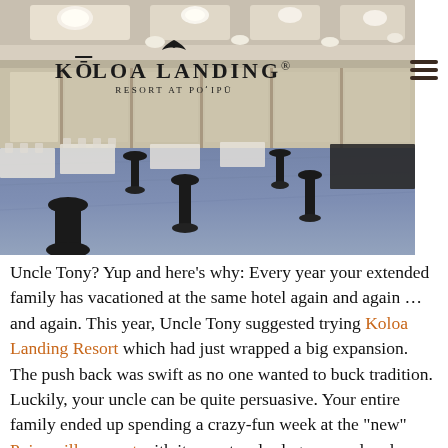[Figure (photo): Interior photo of a large resort ballroom with blue patterned carpet, round black cocktail tables, white linen banquet tables, pendant lights on ceiling, and warm wood paneling on back wall. Koloa Landing Resort logo overlay visible in upper left.]
Uncle Tony? Yup and here’s why: Every year your extended family has vacationed at the same hotel again and again … and again. This year, Uncle Tony suggested trying Koloa Landing Resort which had just wrapped a big expansion. The push back was swift as no one wanted to buck tradition. Luckily, your uncle can be quite persuasive. Your entire family ended up spending a crazy-fun week at the “new” Poipu villas resort with its spectacular lagoon pool and waterslides